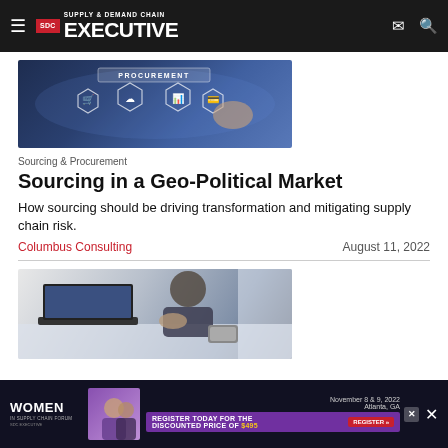Supply & Demand Chain Executive — SDC Executive
[Figure (photo): Procurement technology interface with hexagonal icons and a hand pointing, dark blue background]
Sourcing & Procurement
Sourcing in a Geo-Political Market
How sourcing should be driving transformation and mitigating supply chain risk.
Columbus Consulting    August 11, 2022
[Figure (photo): Business professional working on laptop with phone on desk, office setting]
[Figure (infographic): Women in Supply Chain Forum advertisement banner — November 8 & 9, 2022, Atlanta, GA. Register today for the discounted price of $495.]